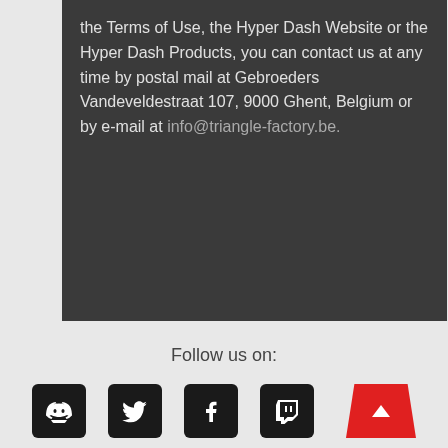the Terms of Use, the Hyper Dash Website or the Hyper Dash Products, you can contact us at any time by postal mail at Gebroeders Vandeveldestraat 107, 9000 Ghent, Belgium or by e-mail at info@triangle-factory.be.
Follow us on:
[Figure (infographic): Social media icons: Discord, Twitter, Facebook, Twitch, and a red scroll-to-top button]